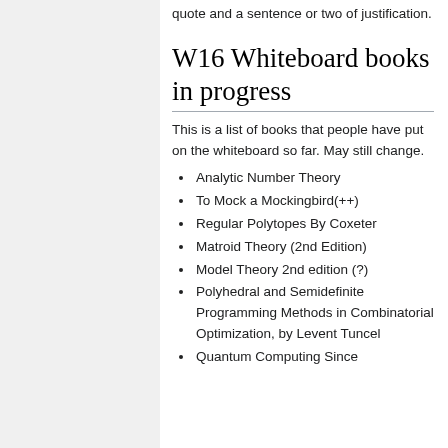quote and a sentence or two of justification.
W16 Whiteboard books in progress
This is a list of books that people have put on the whiteboard so far. May still change.
Analytic Number Theory
To Mock a Mockingbird(++)
Regular Polytopes By Coxeter
Matroid Theory (2nd Edition)
Model Theory 2nd edition (?)
Polyhedral and Semidefinite Programming Methods in Combinatorial Optimization, by Levent Tuncel
Quantum Computing Since